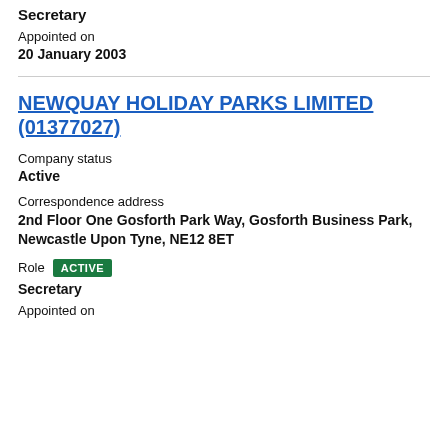Secretary
Appointed on
20 January 2003
NEWQUAY HOLIDAY PARKS LIMITED (01377027)
Company status
Active
Correspondence address
2nd Floor One Gosforth Park Way, Gosforth Business Park, Newcastle Upon Tyne, NE12 8ET
Role  ACTIVE
Secretary
Appointed on